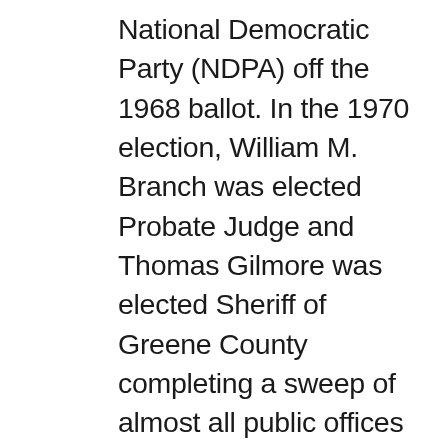National Democratic Party (NDPA) off the 1968 ballot. In the 1970 election, William M. Branch was elected Probate Judge and Thomas Gilmore was elected Sheriff of Greene County completing a sweep of almost all public offices in the county. The Greene County Special Election of 1969 was heralded as a great victory for the Voting Rights Act of 1965 in an Alabama Black Belt county that contributed marchers to the ‘Bloody Sunday’ and subsequent marches in Selma. A New York Times headline on July 30, 1969 proclaimed: Election of 6 Alabama Negroes hailed as ‘Giant Political Step’. The Alabama Civil Rights Museum under the leadership of Spiver W. Gordon sponsored Saturday’s program, which included a display of photos, and programs from the museum’s collection. Rev. John